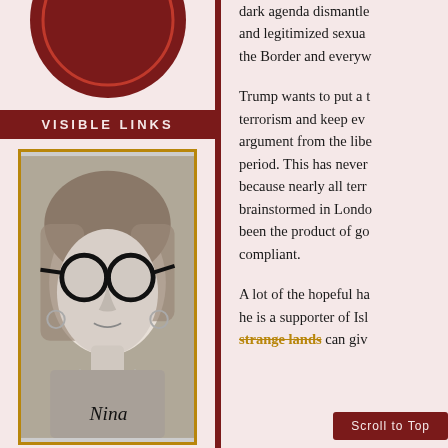[Figure (photo): Partial circular logo/seal at top of left column, dark red color, partially cut off]
VISIBLE LINKS
[Figure (photo): Black and white photograph of a young girl wearing large round glasses, with a handwritten signature 'Nina' in the lower right corner]
dark agenda dismantled and legitimized sexual the Border and everyw
Trump wants to put a terrorism and keep ev argument from the lib period. This has never because nearly all ter brainstormed in Lond been the product of g compliant.
A lot of the hopeful ha he is a supporter of Is strange lands can giv
Scroll to Top